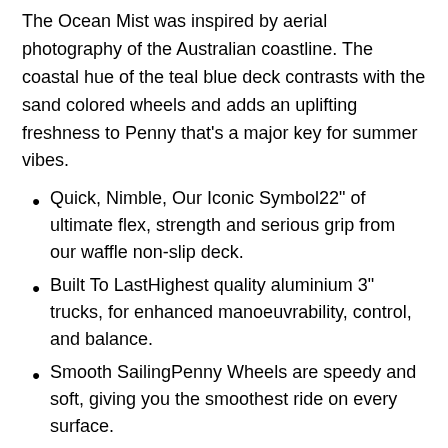The Ocean Mist was inspired by aerial photography of the Australian coastline. The coastal hue of the teal blue deck contrasts with the sand colored wheels and adds an uplifting freshness to Penny that's a major key for summer vibes.
Quick, Nimble, Our Iconic Symbol22" of ultimate flex, strength and serious grip from our waffle non-slip deck.
Built To LastHighest quality aluminium 3" trucks, for enhanced manoeuvrability, control, and balance.
Smooth SailingPenny Wheels are speedy and soft, giving you the smoothest ride on every surface.
Built For SpeedLightweight, high-speed, ABEC-7 bearings.
Since ForeverThe original and the best.